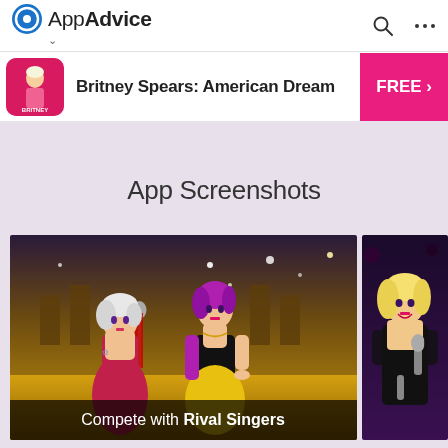AppAdvice
[Figure (screenshot): AppAdvice app promo banner: Britney Spears: American Dream app icon, title, FREE button]
App Screenshots
[Figure (screenshot): Game screenshot showing two animated female singer characters on stage with microphones, caption 'Compete with Rival Singers']
[Figure (screenshot): Game screenshot showing an animated blonde female character holding a microphone on a dark stage]